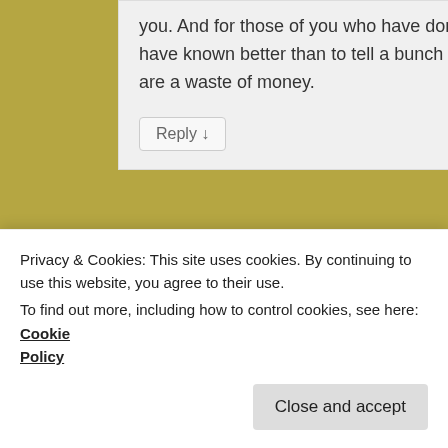you. And for those of you who have done an ANA grant application, you know, and say you should have known better than to tell a bunch of truckers that highways are a waste of money.
Reply ↓
Advertisements
[Figure (screenshot): WordPress.com advertisement banner: 'Simplified pricing for everything you need.' with WordPress.com logo]
REPORT THIS AD
Privacy & Cookies: This site uses cookies. By continuing to use this website, you agree to their use.
To find out more, including how to control cookies, see here: Cookie Policy
Close and accept
It's very straightforward to find out any matter on